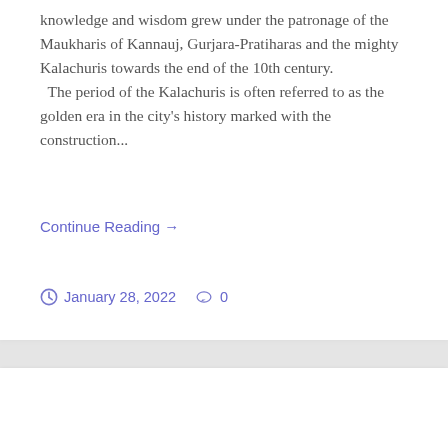knowledge and wisdom grew under the patronage of the Maukharis of Kannauj, Gurjara-Pratiharas and the mighty Kalachuris towards the end of the 10th century.  The period of the Kalachuris is often referred to as the golden era in the city's history marked with the construction...
Continue Reading →
January 28, 2022  0
History of Banaras – Part I
[Figure (map): Historical map of Banaras (Benares) with text label 'BENARES' and scale 'Scale of a Mile'. Map shows roads, settlements and geographical features in a vintage style with tan/cream background.]